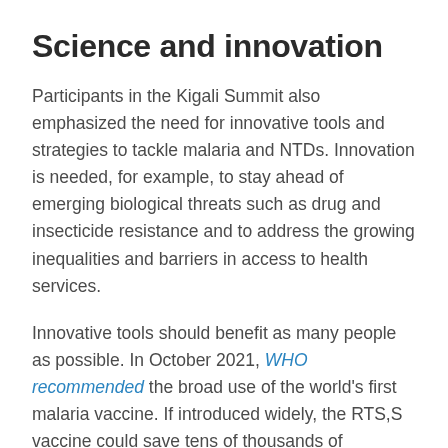Science and innovation
Participants in the Kigali Summit also emphasized the need for innovative tools and strategies to tackle malaria and NTDs. Innovation is needed, for example, to stay ahead of emerging biological threats such as drug and insecticide resistance and to address the growing inequalities and barriers in access to health services.
Innovative tools should benefit as many people as possible. In October 2021, WHO recommended the broad use of the world's first malaria vaccine. If introduced widely, the RTS,S vaccine could save tens of thousands of children's lives every year. However, production capacity for the...